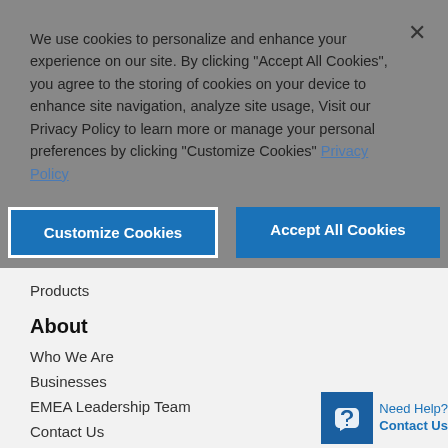We use cookies to personalize and enhance your experience on our site. By clicking "Accept All Cookies", you agree to the storing of cookies on your device to enhance site navigation, analyze site usage, Visit our Privacy Policy to learn more or manage your personal preferences by clicking "Customize Cookies" Privacy Policy
Customize Cookies
Accept All Cookies
Products
About
Who We Are
Businesses
EMEA Leadership Team
Contact Us
Need Help? Contact Us